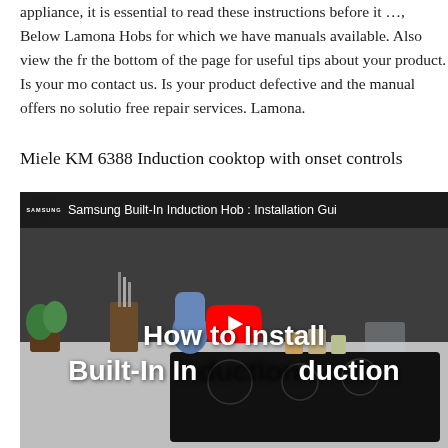appliance, it is essential to read these instructions before it …, Below Lamona Hobs for which we have manuals available. Also view the fr the bottom of the page for useful tips about your product. Is your mo contact us. Is your product defective and the manual offers no solutio free repair services. Lamona.
Miele KM 6388 Induction cooktop with onset controls
[Figure (screenshot): YouTube video thumbnail for Samsung Built-In Induction Hob: Installation Guide. Shows a kitchen counter with an induction hob and overlay text 'How to Install Built-In Induction' with a YouTube play button.]